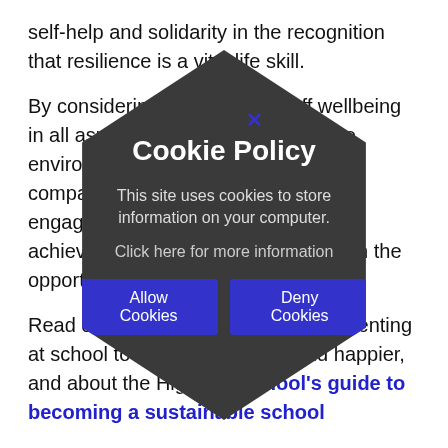self-help and solidarity in the recognition that resilience is a vital life skill.
By considering student and staff wellbeing in all aspects of school life, a positive environment can be created that is compatible with effective learning, engagement, performance and achievement so that everyone is given the opportunity to realise their potential.
Read our guide to what we're implementing at school to become healthier and happier, and about the Highfield School's guide to becoming a sustainable school
Curriculum:
At Highfield, we are working towards the goal of embedding discussion around emotional health and
[Figure (other): Cookie Policy modal overlay with hexagonal dark background. Contains title 'Cookie Policy', body text 'This site uses cookies to store information on your computer.', link 'Click here for more information', and two buttons: 'Allow Cookies' and 'Deny Cookies'. A blue X close button appears at the top.]